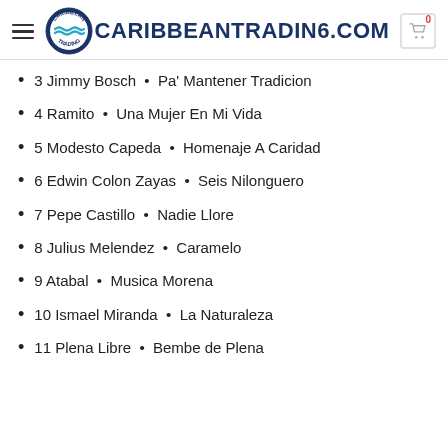CARIBBEANTRADING.COM
3 Jimmy Bosch  •  Pa' Mantener Tradicion
4 Ramito  •  Una Mujer En Mi Vida
5 Modesto Capeda  •  Homenaje A Caridad
6 Edwin Colon Zayas  •  Seis Nilonguero
7 Pepe Castillo  •  Nadie Llore
8 Julius Melendez  •  Caramelo
9 Atabal  •  Musica Morena
10 Ismael Miranda  •  La Naturaleza
11 Plena Libre  •  Bembe de Plena